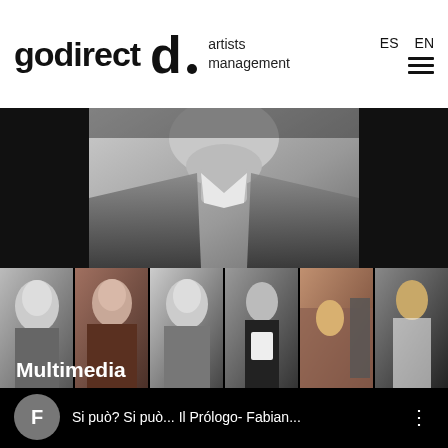godirect artists management  ES  EN
[Figure (photo): Black and white close-up portrait photo of a man in a dark jacket and white shirt]
[Figure (photo): Strip of six thumbnail photos: three B&W portraits of a man, one B&W of a man in black holding paper, one color theatrical scene, one color theatrical scene]
Multimedia
F  Si può? Si può... Il Prólogo- Fabian...  ⋮